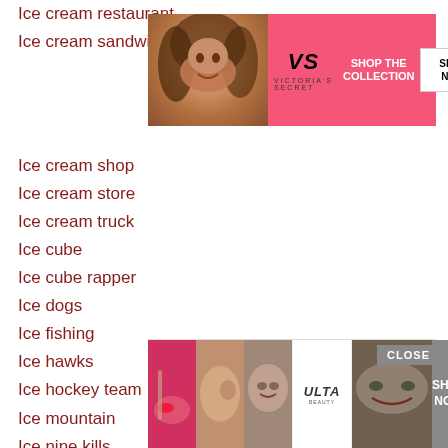Ice cream restaurant
Ice cream sandwich
Ice cream shop
Ice cream store
Ice cream truck
Ice cube
Ice cube rapper
Ice dogs
Ice fishing
Ice hawks
Ice hockey team
Ice mountain
Ice nine kills
Ice o matic
Ice rink
Ice roll
Ice skating
Ice tea
Ice wa
[Figure (screenshot): Victoria's Secret advertisement banner with pink background, model photo, VS logo, 'SHOP THE COLLECTION' text, and 'SHOP NOW' button]
[Figure (screenshot): Ulta Beauty advertisement banner with makeup photos, Ulta logo, and 'SHOP NOW' button]